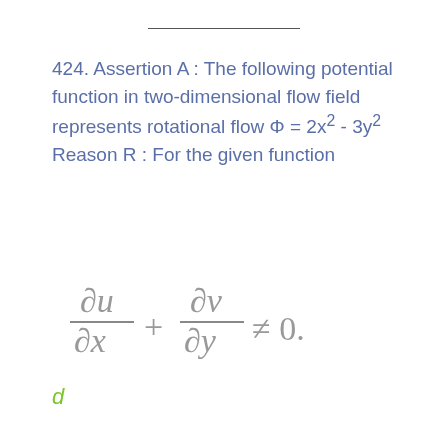424. Assertion A : The following potential function in two-dimensional flow field represents rotational flow Φ = 2x² - 3y² Reason R : For the given function
d